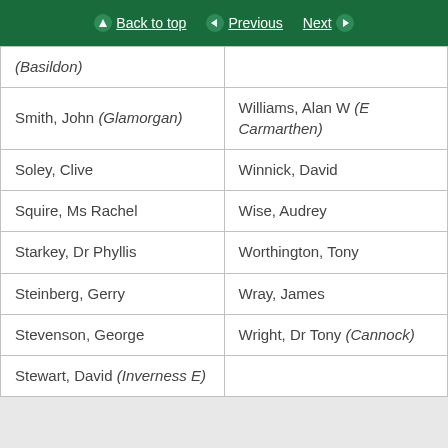Back to top | Previous | Next
| (Basildon) |  |
| Smith, John (Glamorgan) | Williams, Alan W (E Carmarthen) |
| Soley, Clive | Winnick, David |
| Squire, Ms Rachel | Wise, Audrey |
| Starkey, Dr Phyllis | Worthington, Tony |
| Steinberg, Gerry | Wray, James |
| Stevenson, George | Wright, Dr Tony (Cannock) |
| Stewart, David (Inverness E) |  |